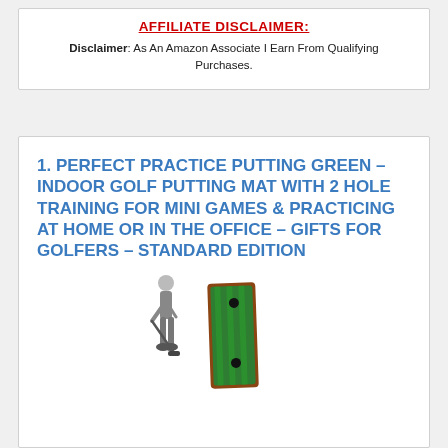AFFILIATE DISCLAIMER:
Disclaimer: As An Amazon Associate I Earn From Qualifying Purchases.
1. PERFECT PRACTICE PUTTING GREEN – INDOOR GOLF PUTTING MAT WITH 2 HOLE TRAINING FOR MINI GAMES & PRACTICING AT HOME OR IN THE OFFICE – GIFTS FOR GOLFERS – STANDARD EDITION
[Figure (illustration): Illustration of a person using a golf putting mat, with a green rectangular putting mat shown beside them.]